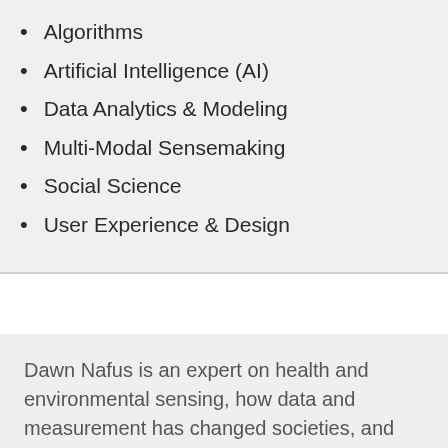Algorithms
Artificial Intelligence (AI)
Data Analytics & Modeling
Multi-Modal Sensemaking
Social Science
User Experience & Design
Dawn Nafus is an expert on health and environmental sensing, how data and measurement has changed societies, and digital research methods. She is the editor of Quantified: Biosensing Technologies in Everyday Life (MIT Press, 2016), co-author of